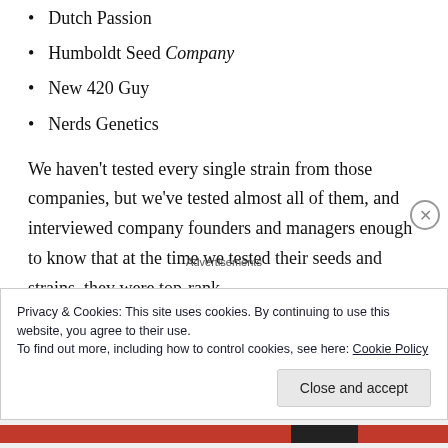Dutch Passion
Humboldt Seed Company
New 420 Guy
Nerds Genetics
We haven't tested every single strain from those companies, but we've tested almost all of them, and interviewed company founders and managers enough to know that at the time we tested their seeds and strains, they were top-rank.
Privacy & Cookies: This site uses cookies. By continuing to use this website, you agree to their use.
To find out more, including how to control cookies, see here: Cookie Policy
Close and accept